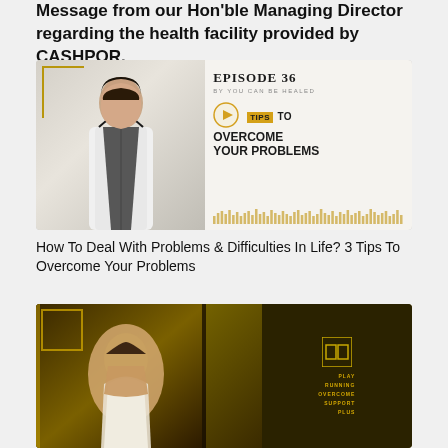Message from our Hon'ble Managing Director regarding the health facility provided by CASHPOR.
[Figure (screenshot): Podcast thumbnail for Episode 36 by You Can Be Healed. Left side shows a woman with long dark hair in a white top. Right side shows text 'EPISODE 36 BY YOU CAN BE HEALED' and a play button with text 'TIPS TO OVERCOME YOUR PROBLEMS' on a light background with gold accents and an audio waveform.]
How To Deal With Problems & Difficulties In Life? 3 Tips To Overcome Your Problems
[Figure (screenshot): Thumbnail showing a man in a light blazer against a dark olive/gold background with black framing. Right side has a small logo and text lines in gold.]